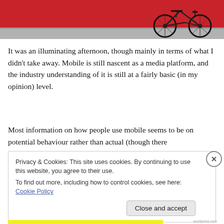[Figure (photo): Photo of a bicycle leaning against a red wall on a sidewalk, cropped at top]
It was an illuminating afternoon, though mainly in terms of what I didn't take away. Mobile is still nascent as a media platform, and the industry understanding of it is still at a fairly basic (in my opinion) level.
Most information on how people use mobile seems to be on potential behaviour rather than actual (though there
Privacy & Cookies: This site uses cookies. By continuing to use this website, you agree to their use.
To find out more, including how to control cookies, see here: Cookie Policy
Close and accept